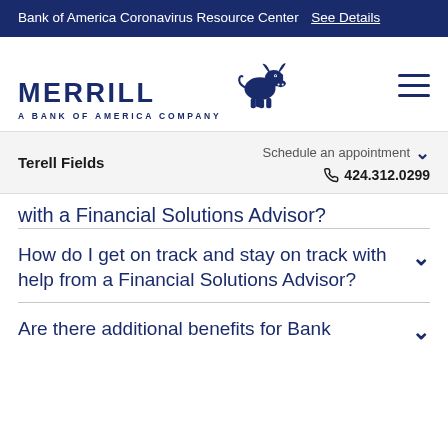Bank of America Coronavirus Resource Center See Details
[Figure (logo): Merrill Lynch logo with bull icon and text 'MERRILL A BANK OF AMERICA COMPANY']
Terell Fields   Schedule an appointment   424.312.0299
with a Financial Solutions Advisor?
How do I get on track and stay on track with help from a Financial Solutions Advisor?
Are there additional benefits for Bank